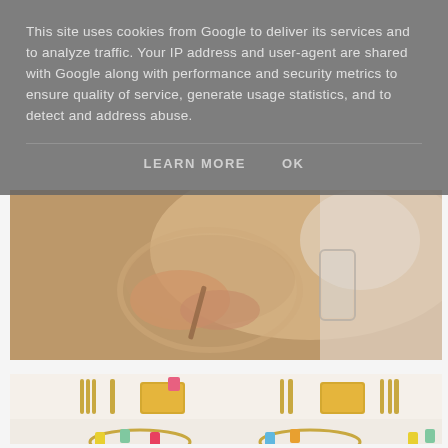[Figure (photo): Close-up photo of hands with a glass bowl on a burlap/hessian textured surface, with a clear glass visible. Warm earthy tones.]
[Figure (photo): Table setting photo showing gold cutlery (forks and knives), gold gift bags with colorful paper tags in pink, and white tablecloth. Below, chairs with colorful paper tag decorations hanging in yellow, mint, pink, and blue.]
This site uses cookies from Google to deliver its services and to analyze traffic. Your IP address and user-agent are shared with Google along with performance and security metrics to ensure quality of service, generate usage statistics, and to detect and address abuse.
LEARN MORE    OK